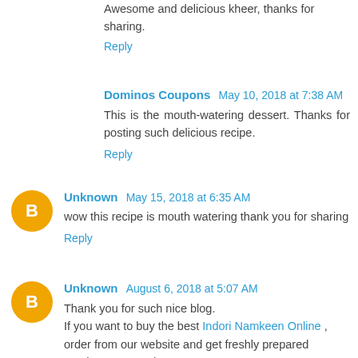Awesome and delicious kheer, thanks for sharing.
Reply
Dominos Coupons  May 10, 2018 at 7:38 AM
This is the mouth-watering dessert. Thanks for posting such delicious recipe.
Reply
Unknown  May 15, 2018 at 6:35 AM
wow this recipe is mouth watering thank you for sharing
Reply
Unknown  August 6, 2018 at 5:07 AM
Thank you for such nice blog.
If you want to buy the best Indori Namkeen Online , order from our website and get freshly prepared namkeen at your home.